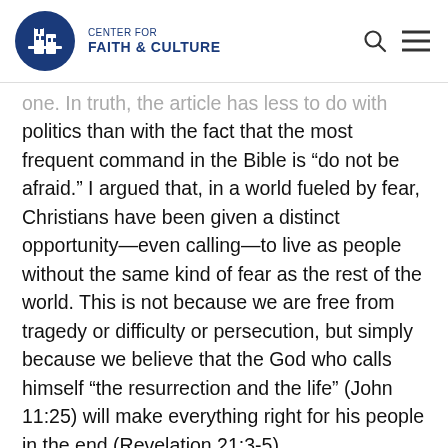CENTER FOR FAITH & CULTURE
one. In truth, the article has less to do with politics than with the fact that the most frequent command in the Bible is “do not be afraid.” I argued that, in a world fueled by fear, Christians have been given a distinct opportunity—even calling—to live as people without the same kind of fear as the rest of the world. This is not because we are free from tragedy or difficulty or persecution, but simply because we believe that the God who calls himself “the resurrection and the life” (John 11:25) will make everything right for his people in the end (Revelation 21:3-5).